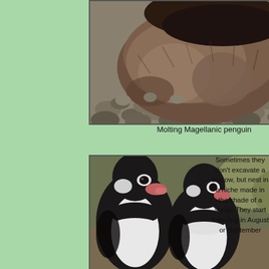[Figure (photo): Close-up photo of a molting Magellanic penguin chick with fluffy brown downy feathers, resting on pebbles/rocks on a beach.]
Molting Magellanic penguin
[Figure (photo): Photo of two adult Magellanic penguins with distinctive black and white banding, close together, with vegetation in background.]
Sometimes they don't excavate a burrow, but nest in a niche made in the shade of a shrub. They start breeding in August or September